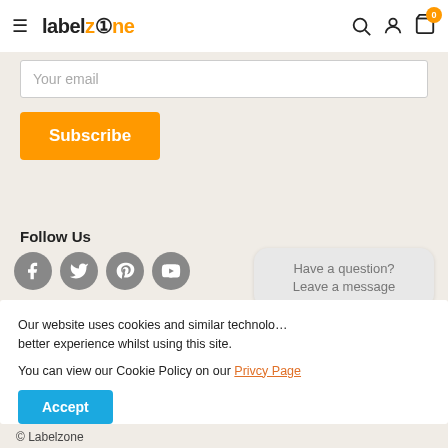labelzone
Your email
Subscribe
Follow Us
[Figure (illustration): Social media icons: Facebook, Twitter, Pinterest, YouTube]
[Figure (illustration): Chat bubble: Have a question? Leave a message]
Our website uses cookies and similar technolo... better experience whilst using this site.
You can view our Cookie Policy on our Privcy Page
Accept
© Labelzone